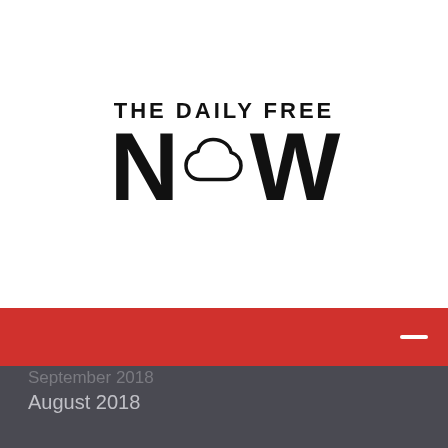[Figure (logo): THE DAILY FREE NOW logo — bold black text 'THE DAILY FREE' above large 'NOW' with a cloud/thought-bubble shape replacing the O]
September 2018
August 2018
June 2018
May 2018
April 2018
March 2018